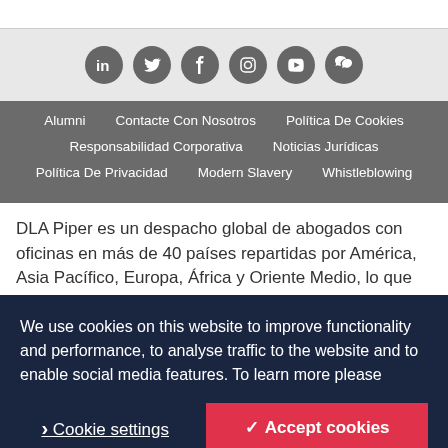[Figure (other): Social media icons row: LinkedIn, Twitter, Facebook, Instagram, YouTube, WeChat — white icons on dark grey circles]
Alumni
Contacte Con Nosotros
Política De Cookies
Responsabilidad Corporativa
Noticias Jurídicas
Política De Privacidad
Modern Slavery
Whistleblowing
DLA Piper es un despacho global de abogados con oficinas en más de 40 países repartidas por América, Asia Pacífico, Europa, África y Oriente Medio, lo que nos posiciona idoneamente para ayudar a las empresas
We use cookies on this website to improve functionality and performance, to analyse traffic to the website and to enable social media features. To learn more please
Cookie settings
Accept cookies